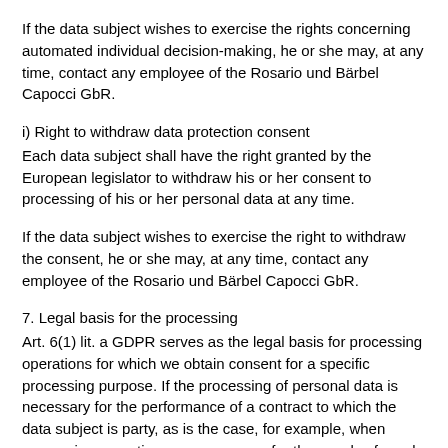If the data subject wishes to exercise the rights concerning automated individual decision-making, he or she may, at any time, contact any employee of the Rosario und Bärbel Capocci GbR.
i) Right to withdraw data protection consent
Each data subject shall have the right granted by the European legislator to withdraw his or her consent to processing of his or her personal data at any time.
If the data subject wishes to exercise the right to withdraw the consent, he or she may, at any time, contact any employee of the Rosario und Bärbel Capocci GbR.
7. Legal basis for the processing
Art. 6(1) lit. a GDPR serves as the legal basis for processing operations for which we obtain consent for a specific processing purpose. If the processing of personal data is necessary for the performance of a contract to which the data subject is party, as is the case, for example, when processing operations are necessary for the supply of goods or to provide any other service, the processing is based on Article 6(1) lit. b GDPR. The same applies to such processing operations which are necessary for carrying out pre-contractual measures, for example in the case of inquiries concerning our products or services.